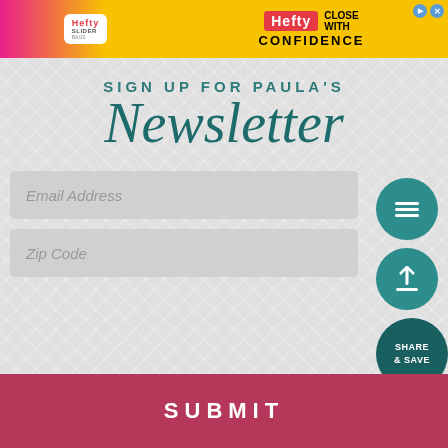[Figure (illustration): Hefty Slider Bags advertisement banner with yellow and pink background, Hefty logo on left side (Slider Bags), and right side showing Hefty logo with text CLOSE WITH CONFIDENCE]
SIGN UP FOR PAULA'S Newsletter
Email Address
Zip Code
SUBMIT